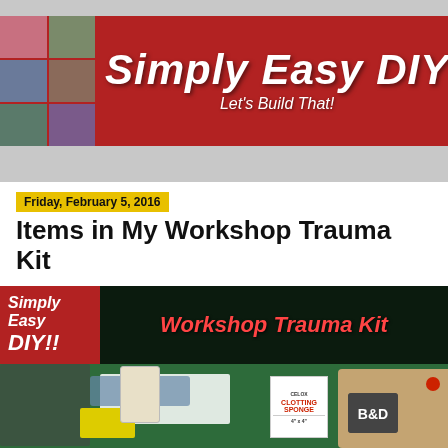[Figure (illustration): Simply Easy DIY blog header banner with red background, collage of DIY project photos on left and right sides, and 'Simply Easy DIY - Let's Build That!' text in center]
Home ▼
Friday, February 5, 2016
Items in My Workshop Trauma Kit
[Figure (photo): Workshop trauma kit photo with red Simply Easy DIY!! badge on left, 'Workshop Trauma Kit' text on dark banner, and various first aid supplies including clotting sponge, pill bottle, bags, and tan tactical pouch on green surface]